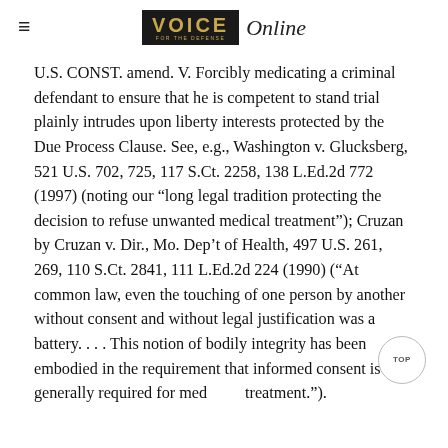VOICE Online
U.S. CONST. amend. V. Forcibly medicating a criminal defendant to ensure that he is competent to stand trial plainly intrudes upon liberty interests protected by the Due Process Clause. See, e.g., Washington v. Glucksberg, 521 U.S. 702, 725, 117 S.Ct. 2258, 138 L.Ed.2d 772 (1997) (noting our “long legal tradition protecting the decision to refuse unwanted medical treatment”); Cruzan by Cruzan v. Dir., Mo. Dep’t of Health, 497 U.S. 261, 269, 110 S.Ct. 2841, 111 L.Ed.2d 224 (1990) (“At common law, even the touching of one person by another without consent and without legal justification was a battery. . . . This notion of bodily integrity has been embodied in the requirement that informed consent is generally required for medical treatment.”).